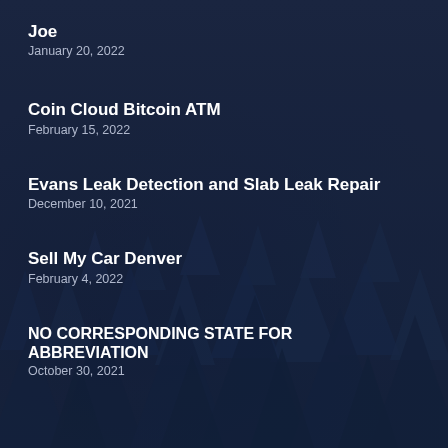Joe
January 20, 2022
Coin Cloud Bitcoin ATM
February 15, 2022
Evans Leak Detection and Slab Leak Repair
December 10, 2021
Sell My Car Denver
February 4, 2022
NO CORRESPONDING STATE FOR ABBREVIATION
October 30, 2021